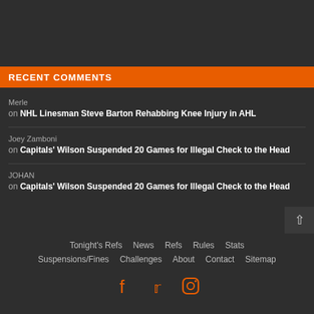RECENT COMMENTS
Merle on NHL Linesman Steve Barton Rehabbing Knee Injury in AHL
Joey Zamboni on Capitals' Wilson Suspended 20 Games for Illegal Check to the Head
JOHAN on Capitals' Wilson Suspended 20 Games for Illegal Check to the Head
Tonight's Refs  News  Refs  Rules  Stats  Suspensions/Fines  Challenges  About  Contact  Sitemap